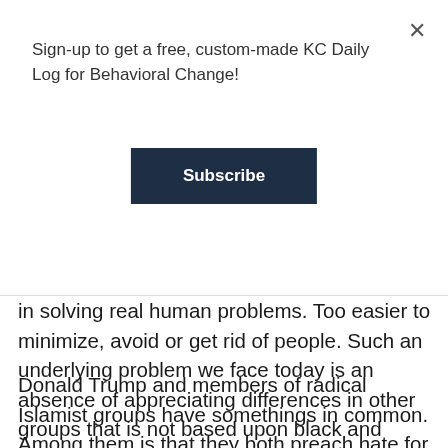Sign-up to get a free, custom-made KC Daily Log for Behavioral Change!
Subscribe
in solving real human problems. Too easier to minimize, avoid or get rid of people.  Such an underlying problem we face today is an absence of appreciating differences in other groups that is not based upon black and white or categorical thinking.
Donald Trump and members of radical Islamist groups have somethings in common.  Among them is that they both preach hate for their counterpart and categorize their foes as enemies belonging to a single unitary category.  When we categorize or label individuals as evil,